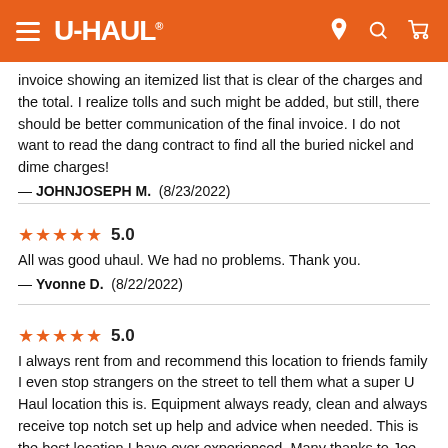U-HAUL
invoice showing an itemized list that is clear of the charges and the total. I realize tolls and such might be added, but still, there should be better communication of the final invoice. I do not want to read the dang contract to find all the buried nickel and dime charges!
— JOHNJOSEPH M.  (8/23/2022)
★★★★★ 5.0
All was good uhaul. We had no problems. Thank you.
— Yvonne D.  (8/22/2022)
★★★★★ 5.0
I always rent from and recommend this location to friends family I even stop strangers on the street to tell them what a super U Haul location this is. Equipment always ready, clean and always receive top notch set up help and advice when needed. This is the best location I have ever experienced. Many thanks to Joe and the nice young lady who works there. Sincerely David